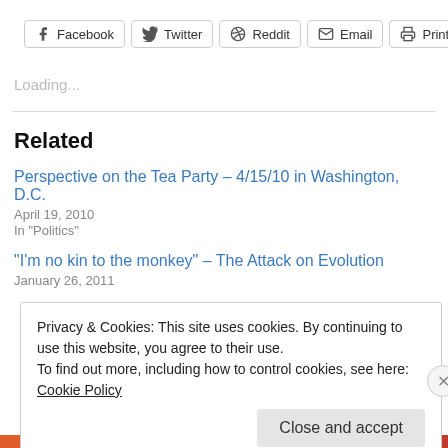[Figure (other): Social share buttons: Facebook, Twitter, Reddit, Email, Print]
Loading...
Related
Perspective on the Tea Party – 4/15/10 in Washington, D.C.
April 19, 2010
In "Politics"
“I’m no kin to the monkey” – The Attack on Evolution
January 26, 2011
Privacy & Cookies: This site uses cookies. By continuing to use this website, you agree to their use.
To find out more, including how to control cookies, see here: Cookie Policy
Close and accept